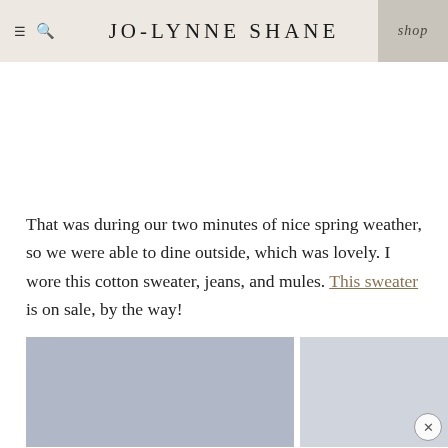JO-LYNNE SHANE  shop
That was during our two minutes of nice spring weather, so we were able to dine outside, which was lovely. I wore this cotton sweater, jeans, and mules. This sweater is on sale, by the way!
[Figure (photo): Partial photo of a woman with dark hair in an interior setting with curtains, shown at the bottom of the page.]